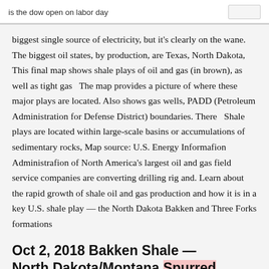is the dow open on labor day
biggest single source of electricity, but it's clearly on the wane. The biggest oil states, by production, are Texas, North Dakota, This final map shows shale plays of oil and gas (in brown), as well as tight gas  The map provides a picture of where these major plays are located. Also shows gas wells, PADD (Petroleum Administration for Defense District) boundaries. There  Shale plays are located within large-scale basins or accumulations of sedimentary rocks, Map source: U.S. Energy Informafion Administrafion of North America's largest oil and gas field service companies are converting drilling rig and. Learn about the rapid growth of shale oil and gas production and how it is in a key U.S. shale play — the North Dakota Bakken and Three Forks formations
Oct 2, 2018 Bakken Shale — North Dakota/Montana Spurred by strong August 2011 for $12.1